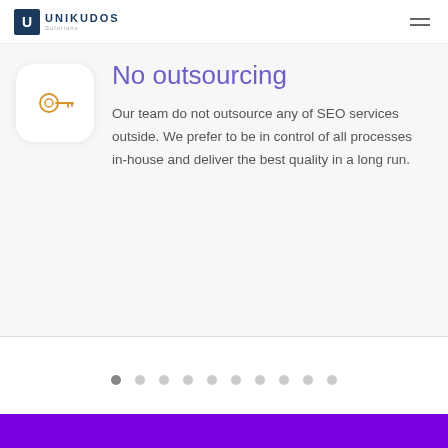UNIKUDOS
[Figure (illustration): Key icon inside a rounded square white circle on light gray background]
No outsourcing
Our team do not outsource any of SEO services outside. We prefer to be in control of all processes in-house and deliver the best quality in a long run.
[Figure (other): Pagination dots row with 10 dots, first one darker/active]